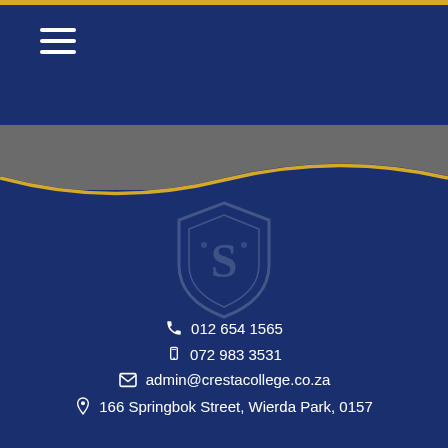[Figure (screenshot): Navigation hamburger menu icon (three horizontal white lines) in top-left of dark navy header bar]
[Figure (logo): Cresta College watermark/crest logo displayed faintly in the center of the navy blue background]
012 654 1565
072 983 3531
admin@crestacollege.co.za
166 Springbok Street, Wierda Park, 0157